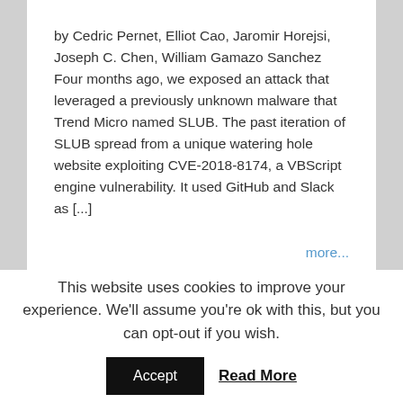by Cedric Pernet, Elliot Cao, Jaromir Horejsi, Joseph C. Chen, William Gamazo Sanchez Four months ago, we exposed an attack that leveraged a previously unknown malware that Trend Micro named SLUB. The past iteration of SLUB spread from a unique watering hole website exploiting CVE-2018-8174, a VBScript engine vulnerability. It used GitHub and Slack as [...]
more...
This website uses cookies to improve your experience. We'll assume you're ok with this, but you can opt-out if you wish.
Accept
Read More